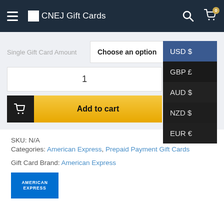CNEJ Gift Cards
Single Gift Card Amount | Choose an option
Currency options: USD $, GBP £, AUD $, NZD $, EUR €
1
Add to cart
SKU: N/A
Categories: American Express, Prepaid Payment Gift Cards
Gift Card Brand: American Express
[Figure (logo): American Express logo — blue rectangle with AMERICAN EXPRESS text in white]